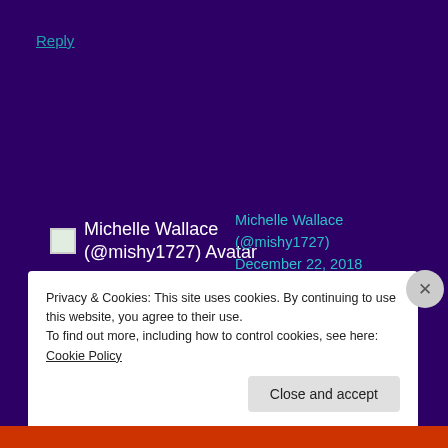Reply
[Figure (photo): Michelle Wallace (@mishy1727) Avatar — small green placeholder image]
Michelle Wallace (@mishy1727) Avatar
Michelle Wallace (@mishy1727) December 22, 2018 at 3:48 pm
Congratulations on your WEP award! 🙂
★ Like
Privacy & Cookies: This site uses cookies. By continuing to use this website, you agree to their use.
To find out more, including how to control cookies, see here: Cookie Policy
Close and accept